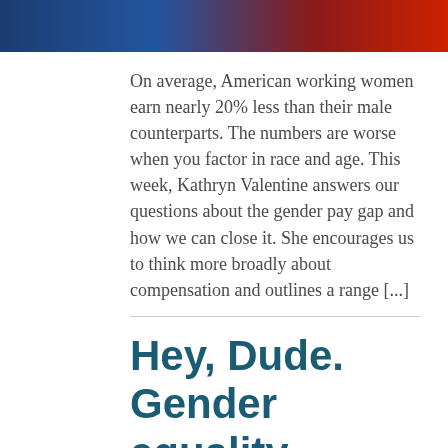[Figure (photo): Partial photo strip at top of page showing people, blue and red tones]
On average, American working women earn nearly 20% less than their male counterparts. The numbers are worse when you factor in race and age. This week, Kathryn Valentine answers our questions about the gender pay gap and how we can close it. She encourages us to think more broadly about compensation and outlines a range [...]
Hey, Dude. Gender equality isn't a spectator